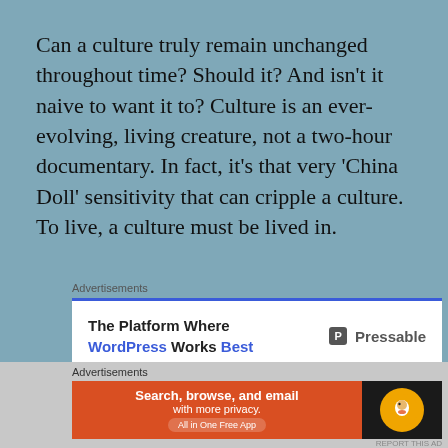Can a culture truly remain unchanged throughout time? Should it? And isn't it naive to want it to? Culture is an ever-evolving, living creature, not a two-hour documentary. In fact, it's that very 'China Doll' sensitivity that can cripple a culture. To live, a culture must be lived in.
Advertisements
[Figure (screenshot): Advertisement banner for Pressable WordPress hosting. White background with blue top border. Left side: 'The Platform Where WordPress Works Best' in bold with WordPress in blue. Right side: Pressable logo with icon.]
Does that mean gentrification is a good trend?
Advertisements
[Figure (screenshot): Advertisement banner for DuckDuckGo. Orange section with text 'Search, browse, and email with more privacy. All in One Free App'. Black section with DuckDuckGo logo.]